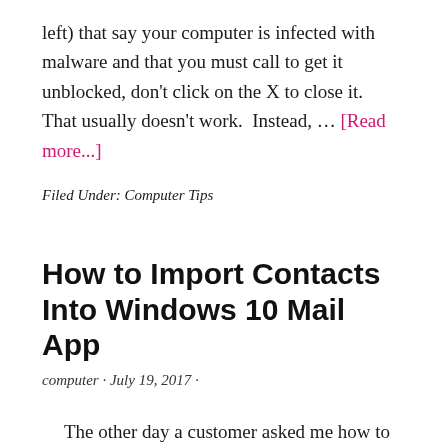left) that say your computer is infected with malware and that you must call to get it unblocked, don't click on the X to close it.  That usually doesn't work.  Instead, … [Read more...]
Filed Under: Computer Tips
How to Import Contacts Into Windows 10 Mail App
computer · July 19, 2017 ·
The other day a customer asked me how to import contacts into the Windows 10 mail app. Here are the